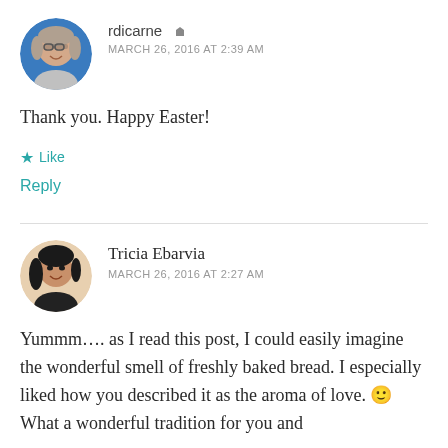[Figure (photo): Circular avatar of a woman with glasses and gray/blonde hair, smiling]
rdicarne ▲
MARCH 26, 2016 AT 2:39 AM
Thank you. Happy Easter!
★ Like
Reply
[Figure (photo): Circular avatar of a woman with dark hair, smiling]
Tricia Ebarvia
MARCH 26, 2016 AT 2:27 AM
Yummm…. as I read this post, I could easily imagine the wonderful smell of freshly baked bread. I especially liked how you described it as the aroma of love. 🙂 What a wonderful tradition for you and